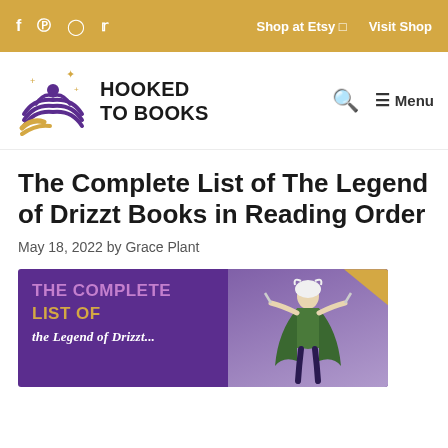f  p  ☐  🐦   Shop at Etsy □   Visit Shop
[Figure (logo): Hooked to Books logo with illustrated book and sparkles]
HOOKED TO BOOKS  🔍  ☰ Menu
The Complete List of The Legend of Drizzt Books in Reading Order
May 18, 2022 by Grace Plant
[Figure (illustration): Purple promotional banner reading THE COMPLETE LIST OF with gold and white text, alongside a fantasy character illustration on a purple background]